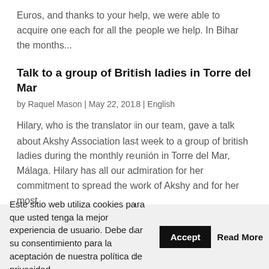Euros, and thanks to your help, we were able to acquire one each for all the people we help. In Bihar the months...
Talk to a group of British ladies in Torre del Mar
by Raquel Mason | May 22, 2018 | English
Hilary, who is the translator in our team, gave a talk about Akshy Association last week to a group of british ladies during the monthly reunión in Torre del Mar, Málaga. Hilary has all our admiration for her commitment to spread the work of Akshy and for her most
Este sitio web utiliza cookies para que usted tenga la mejor experiencia de usuario. Debe dar su consentimiento para la aceptación de nuestra política de privacidad